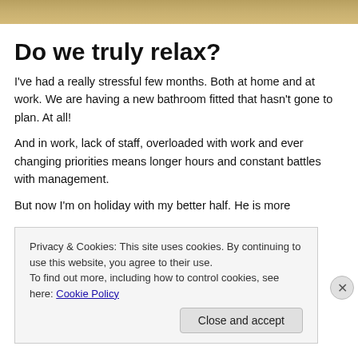[Figure (photo): Partial view of a decorative surface, appears golden/mosaic texture at top of page]
Do we truly relax?
I've had a really stressful few months. Both at home and at work. We are having a new bathroom fitted that hasn't gone to plan. At all!
And in work, lack of staff, overloaded with work and ever changing priorities means longer hours and constant battles with management.
But now I'm on holiday with my better half. He is more
Privacy & Cookies: This site uses cookies. By continuing to use this website, you agree to their use.
To find out more, including how to control cookies, see here: Cookie Policy
Close and accept